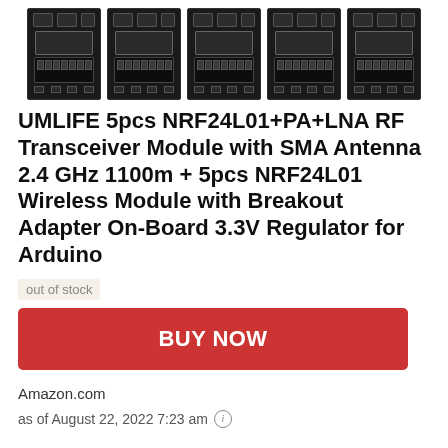[Figure (photo): Five NRF24L01+PA+LNA RF transceiver PCB modules shown in a horizontal row against a white background. Each module is black with components visible.]
UMLIFE 5pcs NRF24L01+PA+LNA RF Transceiver Module with SMA Antenna 2.4 GHz 1100m + 5pcs NRF24L01 Wireless Module with Breakout Adapter On-Board 3.3V Regulator for Arduino
out of stock
BUY NOW
Amazon.com
as of August 22, 2022 7:23 am